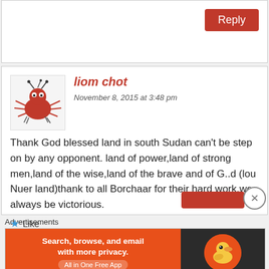[Figure (screenshot): Top white box with a Reply button in red at top right]
Reply
[Figure (illustration): User avatar: cartoon crab/spider creature in red/orange on light background]
liom chot
November 8, 2015 at 3:48 pm
Thank God blessed land in south Sudan can't be step on by any opponent. land of power,land of strong men,land of the wise,land of the brave and of G..d (lou Nuer land)thank to all Borchaar for their hard work.we always be victorious.
★ Like
Advertisements
[Figure (screenshot): DuckDuckGo advertisement banner: orange background with text 'Search, browse, and email with more privacy. All in One Free App' and DuckDuckGo logo on dark right panel]